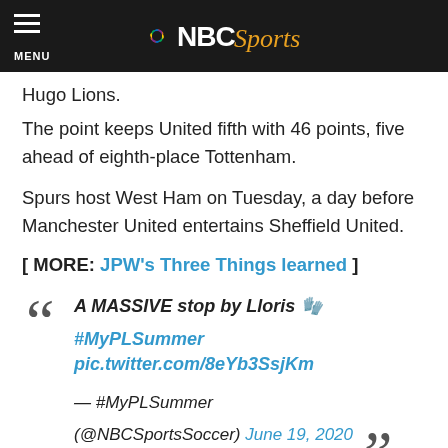NBC Sports
Hugo Lions.
The point keeps United fifth with 46 points, five ahead of eighth-place Tottenham.
Spurs host West Ham on Tuesday, a day before Manchester United entertains Sheffield United.
[ MORE: JPW's Three Things learned ]
"A MASSIVE stop by Lloris 🧤 #MyPLSummer pic.twitter.com/8eYb3SsjKm — #MyPLSummer (@NBCSportsSoccer) June 19, 2020"